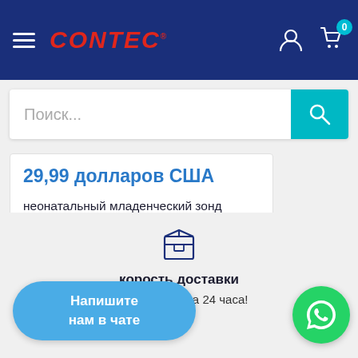CONTEC
Поиск...
29,99 долларов США
неонатальный младенческий зонд SPO2, датчик SPO2 для пульсоксиметра CMS60D CONTEC
[Figure (illustration): Box/package icon for delivery section]
корость доставки
им максимум за 24 часа!
Напишите нам в чате